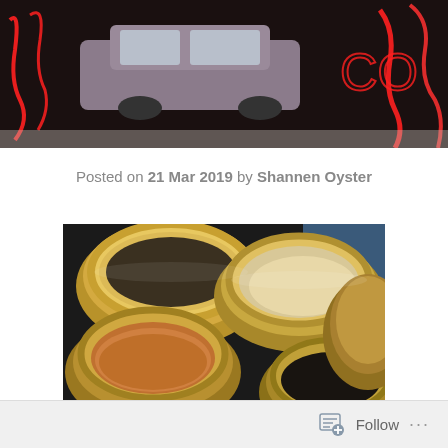[Figure (photo): Header banner photo showing a vintage car and neon red signs/lettering through a storefront window]
Posted on 21 Mar 2019 by Shannen Oyster
[Figure (photo): Close-up photo of several large ceramic or clay cylindrical pots/tubes stacked together, viewed from above, showing their hollow interiors with rustic glazed and earthy tones]
Follow ...